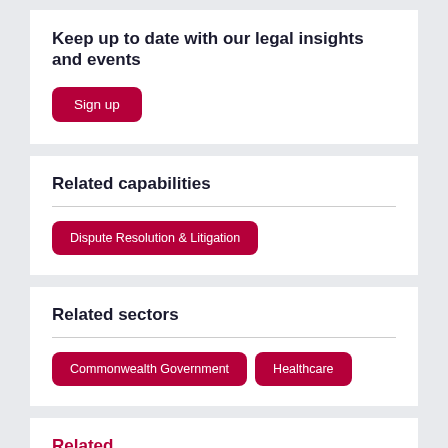Keep up to date with our legal insights and events
Sign up
Related capabilities
Dispute Resolution & Litigation
Related sectors
Commonwealth Government
Healthcare
Related...